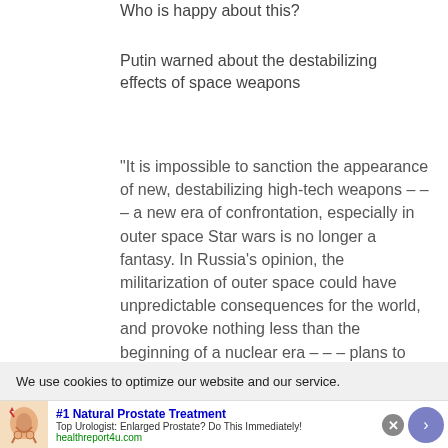Who is happy about this?
Putin warned about the destabilizing effects of space weapons
“It is impossible to sanction the appearance of new, destabilizing high-tech weapons – – – a new era of confrontation, especially in outer space Star wars is no longer a fantasy. In Russia’s opinion, the militarization of outer space could have unpredictable consequences for the world, and provoke nothing less than the beginning of a nuclear era – – – plans to expand certain elements of the anti-missile defense system to
We use cookies to optimize our website and our service.
#1 Natural Prostate Treatment
Top Urologist: Enlarged Prostate? Do This Immediately!
healthreport4u.com